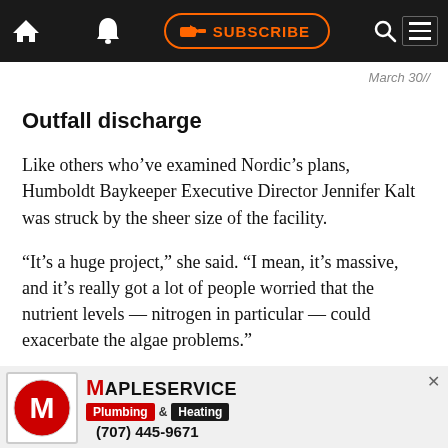SUBSCRIBE navigation bar
March 30//
Outfall discharge
Like others who’ve examined Nordic’s plans, Humboldt Baykeeper Executive Director Jennifer Kalt was struck by the sheer size of the facility.
“It’s a huge project,” she said. “I mean, it’s massive, and it’s really got a lot of people worried that the nutrient levels — nitrogen in particular — could exacerbate the algae problems.”
She was referring to the effluent that will be pumped into the ocean via the 1.5-mile discharge pipe. This is the same pipe that Louisiana-Pacific
[Figure (other): MapleService Plumbing & Heating advertisement banner with phone number (707) 445-9671]